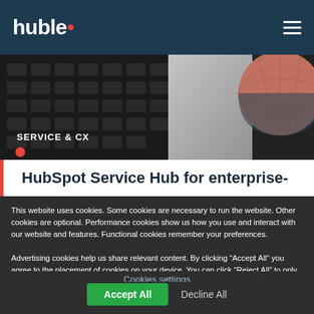huble
[Figure (photo): Hero image showing keyboard and abstract 3D sphere in dark tones with orange/coral accent, with 'SERVICE & CX' label overlay]
HubSpot Service Hub for enterprise-
This website uses cookies. Some cookies are necessary to run the website. Other cookies are optional. Performance cookies show us how you use and interact with our website and features. Functional cookies remember your preferences.
Advertising cookies help us share relevant content. By clicking “Accept All” you agree to the placement of cookies on your device. You can click “Reject All” to only allow strictly necessary cookies to be placed on your device. You can read more about our use of cookies in our Cookie Notice. For more information about our personal data processing practices, refer to our Privacy Notice.
If you decline, your information won’t be tracked when you visit this website. A single cookie will be used in your browser to remember your preference not to be tracked.
Cookies settings
Accept All  Decline All